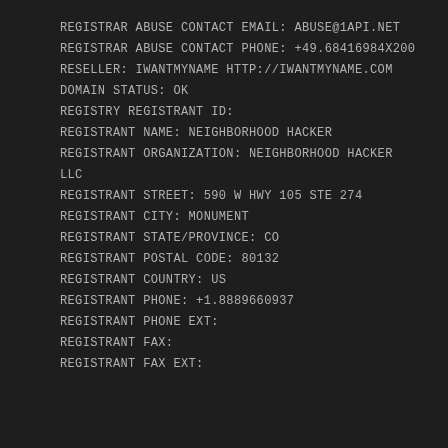REGISTRAR ABUSE CONTACT EMAIL: ABUSE@1API.NET
REGISTRAR ABUSE CONTACT PHONE: +49.68416984x200
RESELLER: IWANTMYNAME HTTP://IWANTMYNAME.COM
DOMAIN STATUS: OK
REGISTRY REGISTRANT ID:
REGISTRANT NAME: NEIGHBORHOOD HACKER
REGISTRANT ORGANIZATION: NEIGHBORHOOD HACKER LLC
REGISTRANT STREET: 590 W HWY 105 STE 274
REGISTRANT CITY: MONUMENT
REGISTRANT STATE/PROVINCE: CO
REGISTRANT POSTAL CODE: 80132
REGISTRANT COUNTRY: US
REGISTRANT PHONE: +1.8889660937
REGISTRANT PHONE EXT:
REGISTRANT FAX:
REGISTRANT FAX EXT: